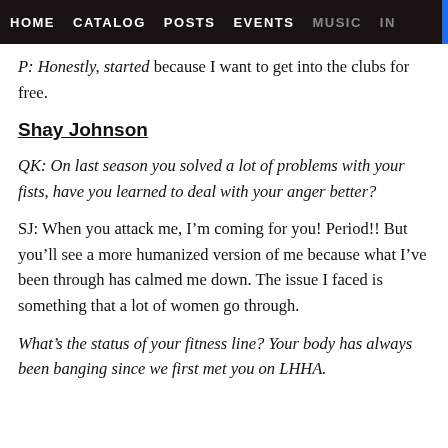HOME   CATALOG   POSTS   EVENTS   MUSIC   IN
P: Honestly, started because I want to get into the clubs for free.
Shay Johnson
QK: On last season you solved a lot of problems with your fists, have you learned to deal with your anger better?
SJ: When you attack me, I’m coming for you! Period!! But you’ll see a more humanized version of me because what I’ve been through has calmed me down. The issue I faced is something that a lot of women go through.
What’s the status of your fitness line? Your body has always been banging since we first met you on LHHA.